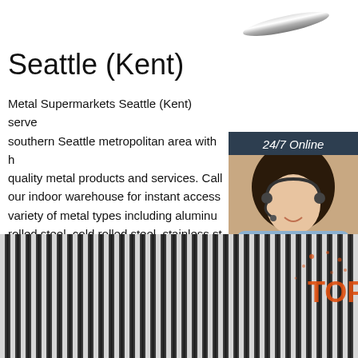[Figure (photo): Metal rod / steel bar on white background, top right corner]
Seattle (Kent)
Metal Supermarkets Seattle (Kent) serves the southern Seattle metropolitan area with high quality metal products and services. Call our indoor warehouse for instant access to a variety of metal types including aluminum, hot rolled steel, cold rolled steel, stainless steel and more.
[Figure (photo): Customer service representative with headset, 24/7 Online chat widget with dark blue background, 'Click here for free chat!' text and orange QUOTATION button]
[Figure (photo): Green 'Get Price' button]
[Figure (photo): Close-up of coiled wire rods / steel wire coil at bottom of page with TOP badge overlay]